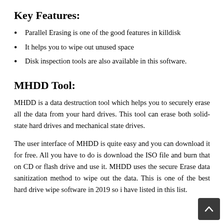Key Features:
Parallel Erasing is one of the good features in killdisk
It helps you to wipe out unused space
Disk inspection tools are also available in this software.
MHDD Tool:
MHDD is a data destruction tool which helps you to securely erase all the data from your hard drives. This tool can erase both solid-state hard drives and mechanical state drives.
The user interface of MHDD is quite easy and you can download it for free. All you have to do is download the ISO file and burn that on CD or flash drive and use it. MHDD uses the secure Erase data sanitization method to wipe out the data. This is one of the best hard drive wipe software in 2019 so i have listed in this list.